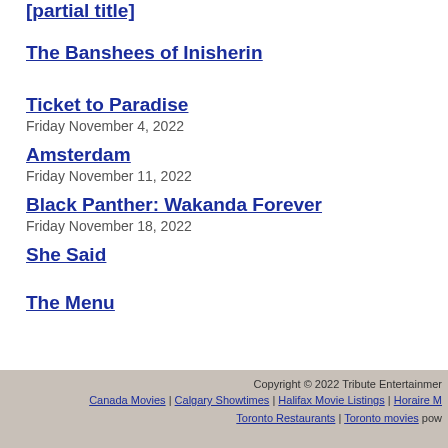[partial movie title cut off at top]
The Banshees of Inisherin
Ticket to Paradise
Friday November 4, 2022
Amsterdam
Friday November 11, 2022
Black Panther: Wakanda Forever
Friday November 18, 2022
She Said
The Menu
Copyright © 2022 Tribute Entertainment | Canada Movies | Calgary Showtimes | Halifax Movie Listings | Horaire M... | Toronto Restaurants | Toronto movies pow...